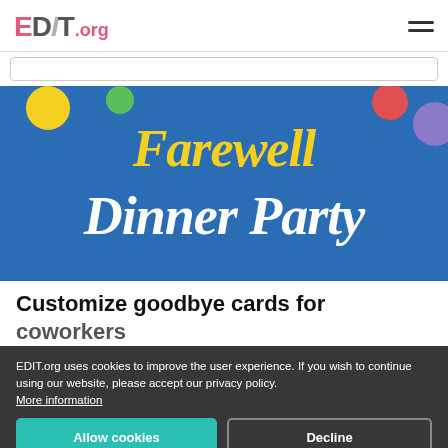EDIT.org
[Figure (illustration): Farewell Dinner Party invitation banner with blue background, colorful polka dots (yellow, green, red, purple), and decorative script text reading 'Farewell Dinner Party' in yellow and white lettering]
Customize goodbye cards for coworkers
EDIT.org uses cookies to improve the user experience. If you wish to continue using our website, please accept our privacy policy. More information
Allow cookies | Decline